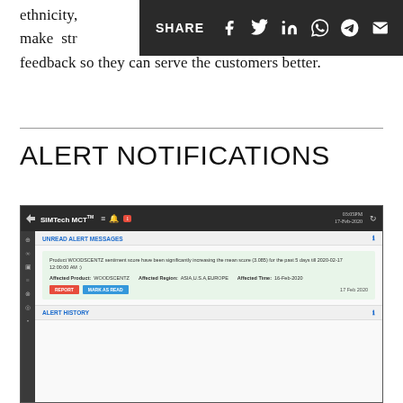ethnicity, companies to make strategic demographic feedback so they can serve the customers better.
ALERT NOTIFICATIONS
[Figure (screenshot): Screenshot of SIMTech MCT application showing Unread Alert Messages panel with a notification about WOODSCENTZ product sentiment score significantly increasing, with Affected Product: WOODSCENTZ, Affected Region: ASIA,U.S.A,EUROPE, Affected Time: 16-Feb-2020, dated 17 Feb 2020. Below is an Alert History section.]